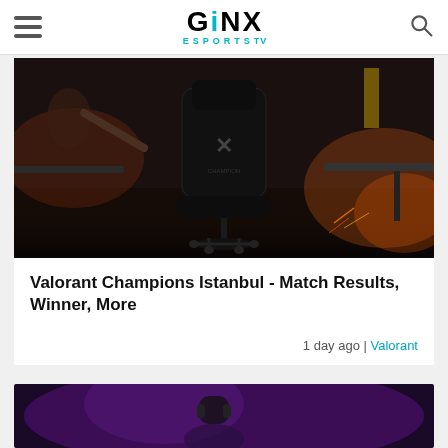GINX ESPORTS TV
[Figure (photo): Gaming chair on a dark esports stage with lighting setup and desks in background]
Valorant Champions Istanbul - Match Results, Winner, More
1 day ago | Valorant
[Figure (photo): Partial view of esports player with purple stage lighting, partially cropped]